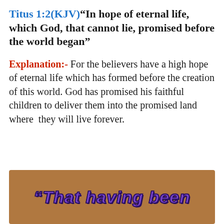Titus 1:2(KJV)“In hope of eternal life, which God, that cannot lie, promised before the world began”
Explanation:- For the believers have a high hope of eternal life which has formed before the creation of this world. God has promised his faithful children to deliver them into the promised land where they will live forever.
[Figure (illustration): A decorative image with a brown/tan background showing the beginning of a quote in purple bold italic text: “That having been]